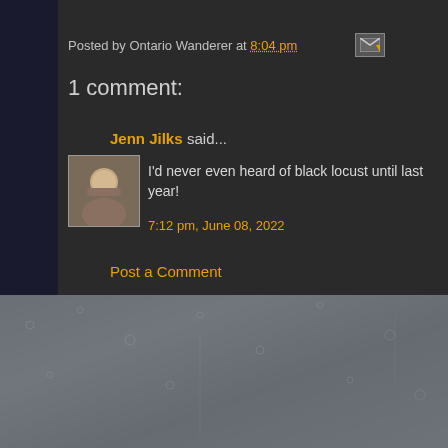Posted by Ontario Wanderer at 8:04 pm
1 comment:
Jenn Jilks said...
I'd never even heard of black locust until last year!
7:12 pm, June 08, 2022
Post a Comment
Newer Post
Home
Subscribe to: Post Comments (Atom)
© Dean Gugler. Theme